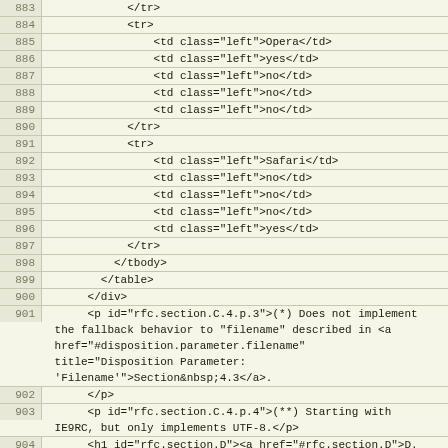Code listing lines 883-905 showing HTML source code with line numbers
883: </tr>
884: <tr>
885:     <td class="left">Opera</td>
886:     <td class="left">yes</td>
887:     <td class="left">no</td>
888:     <td class="left">no</td>
889:     <td class="left">no</td>
890: </tr>
891: <tr>
892:     <td class="left">Safari</td>
893:     <td class="left">no</td>
894:     <td class="left">no</td>
895:     <td class="left">no</td>
896:     <td class="left">yes</td>
897: </tr>
898:         </tbody>
899:     </table>
900: </div>
901: <p id="rfc.section.C.4.p.3">(*) Does not implement the fallback behavior to "filename" described in <a href="#disposition.parameter.filename" title="Disposition Parameter: 'Filename'">Section&nbsp;4.3</a>.
902: </p>
903: <p id="rfc.section.C.4.p.4">(**) Starting with IE9RC, but only implements UTF-8.</p>
904: <h1 id="rfc.section.D"><a href="#rfc.section.D">D.</a>&nbsp;<a id="change.log" href="#change.log">Change Log (to be removed by RFC Editor before publication)</a></h1>
905: <p id="rfc.section.D.p.1">Note: the issues names in the change log entries for draft-reschke-rfc2183-in-http refer to &lt;<a href="http://greenbytes.de/tech/webdav/draft-reschke-